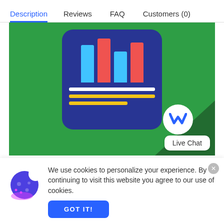Description  Reviews  FAQ  Customers (0)
[Figure (screenshot): Green background promotional image showing a bar chart icon on a dark blue rounded rectangle card with horizontal lines below it. A white circle logo with a blue W-shape is in the bottom right along with a Live Chat label.]
Live Chat
We use cookies to personalize your experience. By continuing to visit this website you agree to our use of cookies.
GOT IT!